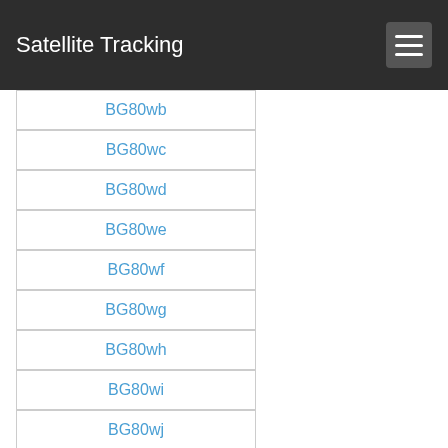Satellite Tracking
BG80wb
BG80wc
BG80wd
BG80we
BG80wf
BG80wg
BG80wh
BG80wi
BG80wj
BG80wk
BG80wl
BG80wm
BG80wn
BG80wo
BG80wp
BG80wq
BG80wr
BG80ws